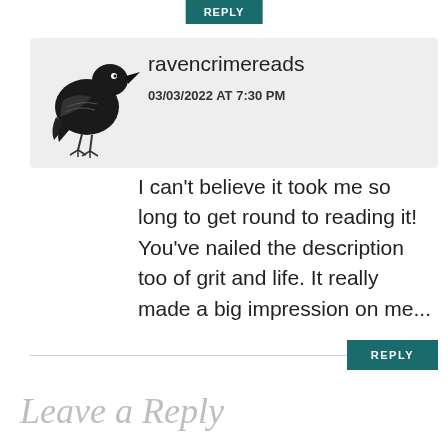[Figure (illustration): Black ink illustration of a raven/crow standing, viewed from the side]
ravencrimereads
03/03/2022 AT 7:30 PM
I can't believe it took me so long to get round to reading it! You've nailed the description too of grit and life. It really made a big impression on me...
REPLY
Leave a Reply